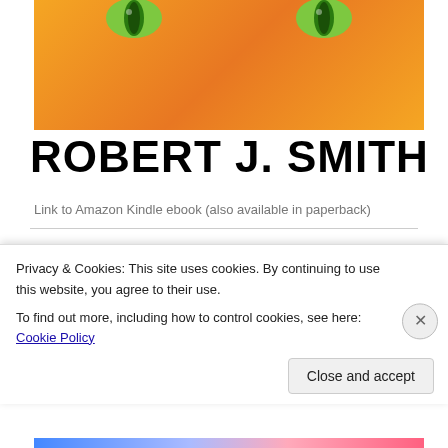[Figure (illustration): Top portion of a book cover with orange background and two green cat eyes visible at the top]
ROBERT J. SMITH
Link to Amazon Kindle ebook (also available in paperback)
Petectives: Christmas Party
[Figure (illustration): Top portion of another book cover with a gold/orange gradient bar]
Privacy & Cookies: This site uses cookies. By continuing to use this website, you agree to their use.
To find out more, including how to control cookies, see here: Cookie Policy
Close and accept